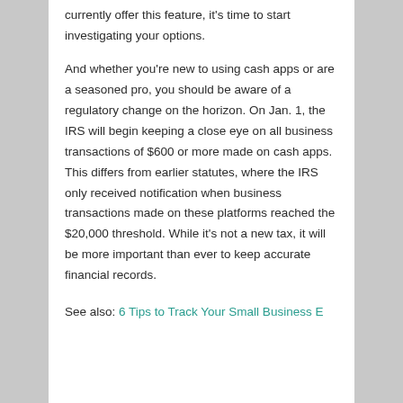currently offer this feature, it's time to start investigating your options.
And whether you're new to using cash apps or are a seasoned pro, you should be aware of a regulatory change on the horizon. On Jan. 1, the IRS will begin keeping a close eye on all business transactions of $600 or more made on cash apps. This differs from earlier statutes, where the IRS only received notification when business transactions made on these platforms reached the $20,000 threshold. While it's not a new tax, it will be more important than ever to keep accurate financial records.
See also: 6 Tips to Track Your Small Business Expenses